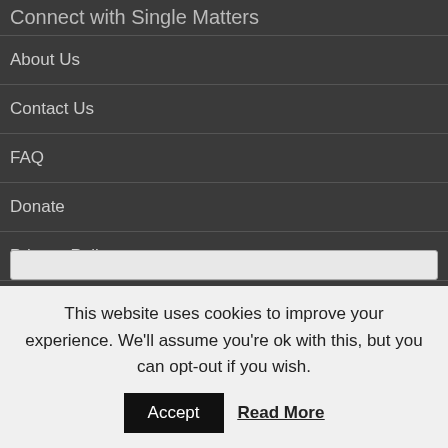Connect with Single Matters
About Us
Contact Us
FAQ
Donate
Privacy Policy
Terms and Conditions
Join the Community!
Get immediate access to our private Facebook Community and free resources from our founder Jill Monaco.
This website uses cookies to improve your experience. We'll assume you're ok with this, but you can opt-out if you wish.